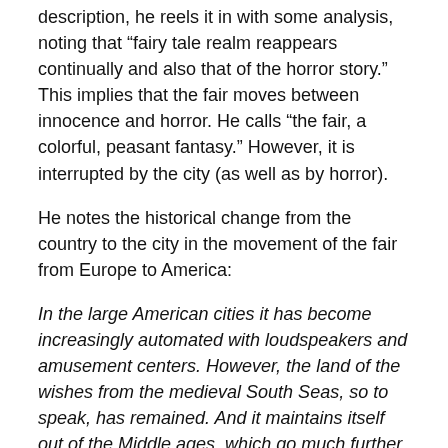description, he reels it in with some analysis, noting that “fairy tale realm reappears continually and also that of the horror story.”  This implies that the fair moves between innocence and horror.  He calls “the fair, a colorful, peasant fantasy.”  However, it is interrupted by the city (as well as by horror).
He notes the historical change from the country to the city in the movement of the fair from Europe to America:
In the large American cities it has become increasingly automated with loudspeakers and amusement centers.  However, the land of the wishes from the medieval South Seas, so to speak, has remained.  And it maintains itself out of the Middle ages, which go much further back, right to the fair of the higher order, in the kind of show of the Circenses without any curtain at all. (79)